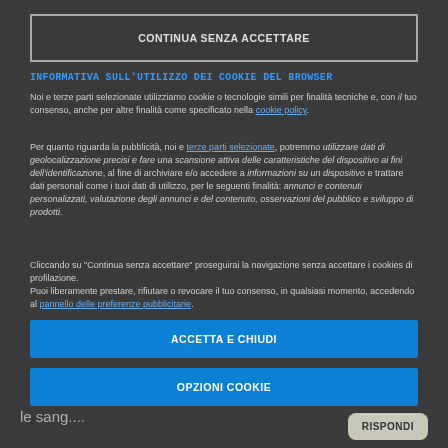CONTINUA SENZA ACCETTARE
INFORMATIVA SULL'UTILIZZO DEI COOKIE DEL BROWSER
Noi e terze parti selezionate utilizziamo cookie o tecnologie simili per finalità tecniche e, con il tuo consenso, anche per altre finalità come specificato nella cookie policy.
Per quanto riguarda la pubblicità, noi e terze parti selezionate, potremmo utilizzare dati di geolocalizzazione precisi e fare una scansione attiva delle caratteristiche del dispositivo ai fini dell'identificazione, al fine di archiviare e/o accedere a informazioni su un dispositivo e trattare dati personali come i tuoi dati di utilizzo, per le seguenti finalità: annunci e contenuti personalizzati, valutazione degli annunci e del contenuto, osservazioni del pubblico e sviluppo di prodotti.
Cliccando su "Continua senza accettare" proseguirai la navigazione senza accettare i cookies di profilazione.
Puoi liberamente prestare, rifiutare o revocare il tuo consenso, in qualsiasi momento, accedendo al pannello delle preferenze pubblicitarie.
ACCETTA E CHIUDI
OPZIONI COOKIE
le sang....
RISPONDI